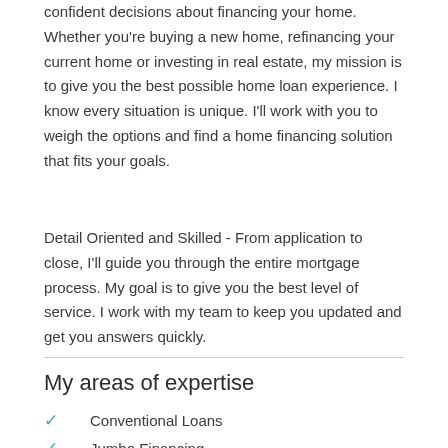confident decisions about financing your home. Whether you're buying a new home, refinancing your current home or investing in real estate, my mission is to give you the best possible home loan experience. I know every situation is unique. I'll work with you to weigh the options and find a home financing solution that fits your goals.
Detail Oriented and Skilled - From application to close, I'll guide you through the entire mortgage process. My goal is to give you the best level of service. I work with my team to keep you updated and get you answers quickly.
My areas of expertise
Conventional Loans
Jumbo Financing